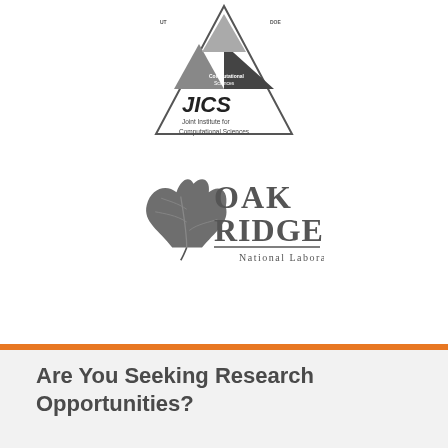[Figure (logo): JICS Joint Institute for Computational Sciences logo with triangular geometric shapes and text]
[Figure (logo): Oak Ridge National Laboratory logo with oak leaf graphic and text]
Are You Seeking Research Opportunities?